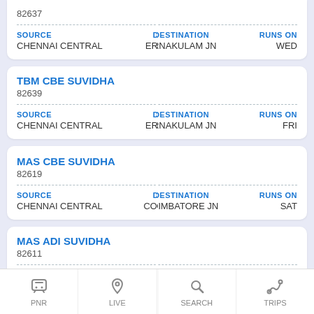82637
| SOURCE | DESTINATION | RUNS ON |
| --- | --- | --- |
| CHENNAI CENTRAL | ERNAKULAM JN | WED |
TBM CBE SUVIDHA
82639
| SOURCE | DESTINATION | RUNS ON |
| --- | --- | --- |
| CHENNAI CENTRAL | ERNAKULAM JN | FRI |
MAS CBE SUVIDHA
82619
| SOURCE | DESTINATION | RUNS ON |
| --- | --- | --- |
| CHENNAI CENTRAL | COIMBATORE JN | SAT |
MAS ADI SUVIDHA
82611
| SOURCE | DESTINATION | RUNS ON |
| --- | --- | --- |
| CHENNAI CENTRAL | AHMEDABAD | SAT |
PNR  LIVE  SEARCH  TRIPS